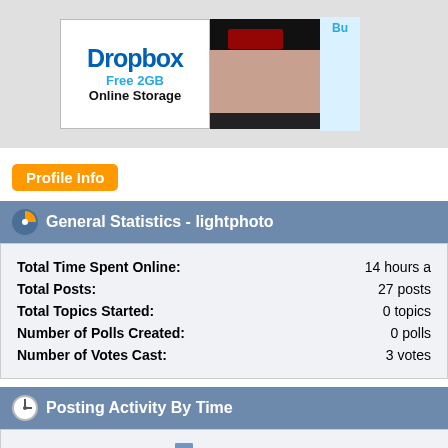[Figure (screenshot): Top banner area with Dropbox Free 2GB Online Storage advertisement and fashion photo advertisement]
Profile Info
General Statistics - lightphoto
| Field | Value |
| --- | --- |
| Total Time Spent Online: | 14 hours a |
| Total Posts: | 27 posts |
| Total Topics Started: | 0 topics |
| Number of Polls Created: | 0 polls |
| Number of Votes Cast: | 3 votes |
Posting Activity By Time
[Figure (bar-chart): Posting Activity By Time]